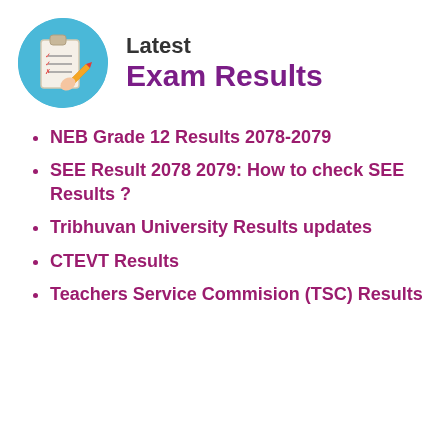[Figure (illustration): Clipboard with checklist icon on teal/blue circular background with a hand holding a pencil]
Latest Exam Results
NEB Grade 12 Results 2078-2079
SEE Result 2078 2079: How to check SEE Results ?
Tribhuvan University Results updates
CTEVT Results
Teachers Service Commision (TSC) Results